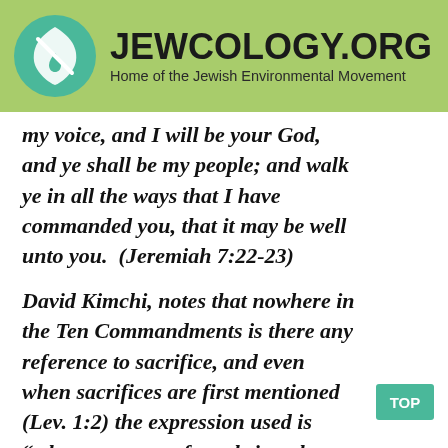[Figure (logo): Jewcology.org logo with green circle containing a leaf/flame icon and water drop, with site title and subtitle]
my voice, and I will be your God, and ye shall be my people; and walk ye in all the ways that I have commanded you, that it may be well unto you. (Jeremiah 7:22-23)
David Kimchi, notes that nowhere in the Ten Commandments is there any reference to sacrifice, and even when sacrifices are first mentioned (Lev. 1:2) the expression used is “when any man of you bringeth an offering,” the first Hebrew we ki being literally “if”, implying that it